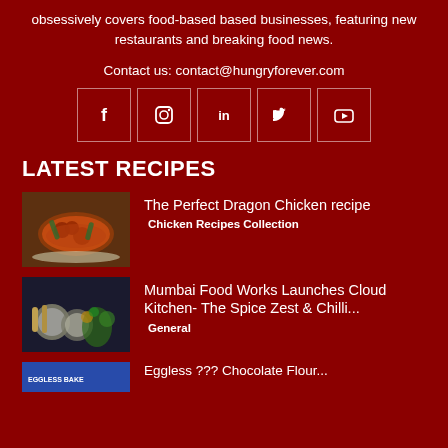obsessively covers food-based based businesses, featuring new restaurants and breaking food news.
Contact us: contact@hungryforever.com
[Figure (infographic): Row of 5 social media icons in bordered boxes: Facebook (f), Instagram, LinkedIn (in), Twitter (bird), YouTube (play button)]
LATEST RECIPES
[Figure (photo): Dragon chicken dish - fried chicken pieces with peppers on a plate]
The Perfect Dragon Chicken recipe
Chicken Recipes Collection
[Figure (photo): Mumbai food - Indian dishes in bowls with spices]
Mumbai Food Works Launches Cloud Kitchen- The Spice Zest & Chilli...
General
[Figure (photo): Chocolate related recipe thumbnail (partially visible)]
Eggless ??? Chocolate Flour... (partially visible)